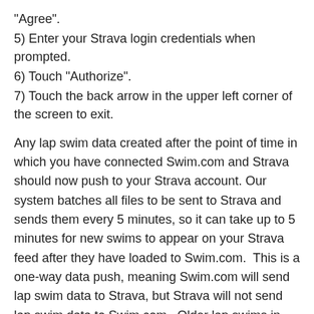"Agree".
5) Enter your Strava login credentials when prompted.
6) Touch "Authorize".
7) Touch the back arrow in the upper left corner of the screen to exit.
Any lap swim data created after the point of time in which you have connected Swim.com and Strava should now push to your Strava account. Our system batches all files to be sent to Strava and sends them every 5 minutes, so it can take up to 5 minutes for new swims to appear on your Strava feed after they have loaded to Swim.com.  This is a one-way data push, meaning Swim.com will send lap swim data to Strava, but Strava will not send lap swim data to Swim.com.  Older lap swims in your Swim.com feed prior to making the connection will not push and if you wish to export this data you will need to do so manually (see below). Open water swims or other types of activities (cross-training) in your Swim.com feed will not sync to your Strava account - it